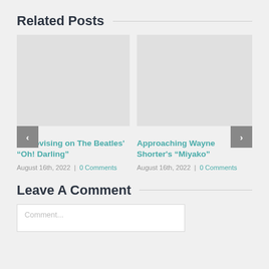Related Posts
[Figure (other): Placeholder image area for related post 1 (gray rectangle)]
[Figure (other): Placeholder image area for related post 2 (gray rectangle)]
Improvising on The Beatles' “Oh! Darling”
August 16th, 2022 | 0 Comments
Approaching Wayne Shorter’s “Miyako”
August 16th, 2022 | 0 Comments
Leave A Comment
Comment...